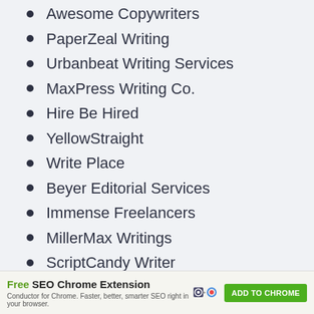Awesome Copywriters
PaperZeal Writing
Urbanbeat Writing Services
MaxPress Writing Co.
Hire Be Hired
YellowStraight
Write Place
Beyer Editorial Services
Immense Freelancers
MillerMax Writings
ScriptCandy Writer
Wordstormers
[Figure (infographic): Advertisement banner for Free SEO Chrome Extension by Conductor. Text: 'Free SEO Chrome Extension. Conductor for Chrome. Faster, better, smarter SEO right in your browser.' with an ADD TO CHROME button.]